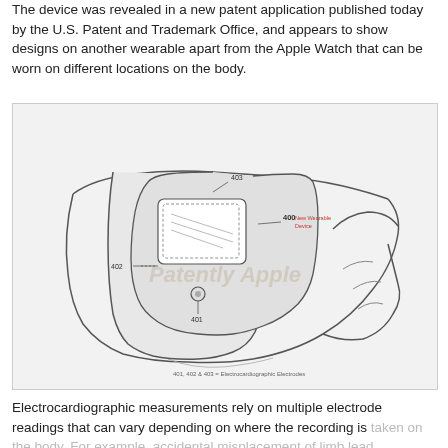The device was revealed in a new patent application published today by the U.S. Patent and Trademark Office, and appears to show designs on another wearable apart from the Apple Watch that can be worn on different locations on the body.
[Figure (engineering-diagram): Patent diagram of a wearable ECG device worn on a wrist/forearm, showing a flexible band with a display screen and electrodes labeled 400 (New Wearable Device), 401, 402, 403. Caption at bottom reads '401, 402 & 403 = Electrocardiographic Electrodes'. Watermark text 'Patently Apple' overlaid on image.]
Electrocardiographic measurements rely on multiple electrode readings that can vary depending on where the recording is taken on the body. For example, accidental misplacement of limb lead electrodes is a common cause of ECG reading...